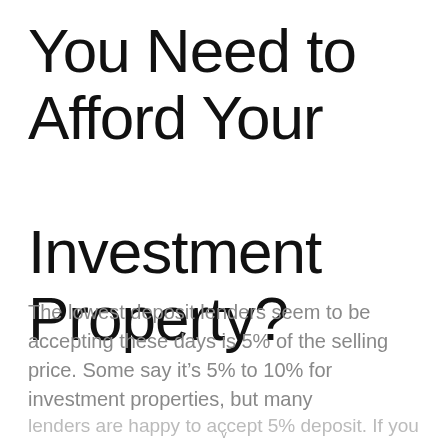You Need to Afford Your Investment Property?
The lowest deposit lenders seem to be accepting these days is 5% of the selling price. Some say it's 5% to 10% for investment properties, but many lenders are happy to accept 5% deposit. If you...
v